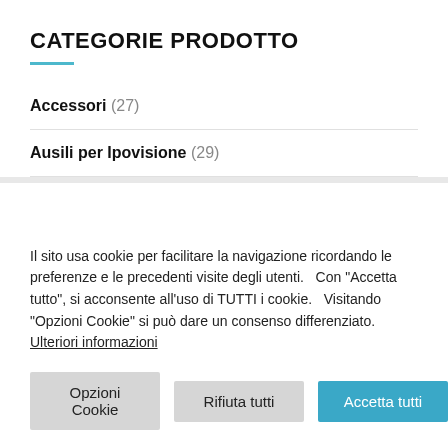CATEGORIE PRODOTTO
Accessori (27)
Ausili per Ipovisione (29)
Il sito usa cookie per facilitare la navigazione ricordando le preferenze e le precedenti visite degli utenti.   Con "Accetta tutto", si acconsente all'uso di TUTTI i cookie.   Visitando "Opzioni Cookie" si può dare un consenso differenziato. Ulteriori informazioni
Opzioni Cookie | Rifiuta tutti | Accetta tutti